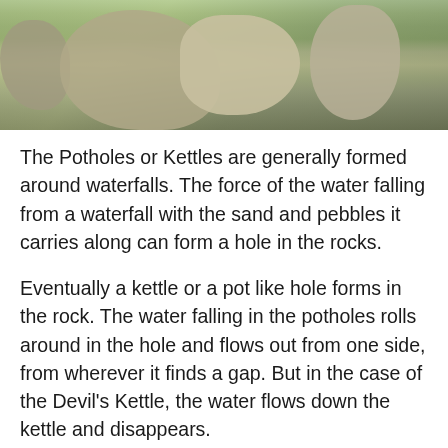[Figure (photo): Photograph of large rock formations with green vegetation/trees in the background, likely near a waterfall area.]
The Potholes or Kettles are generally formed around waterfalls. The force of the water falling from a waterfall with the sand and pebbles it carries along can form a hole in the rocks.
Eventually a kettle or a pot like hole forms in the rock. The water falling in the potholes rolls around in the hole and flows out from one side, from wherever it finds a gap. But in the case of the Devil's Kettle, the water flows down the kettle and disappears.
Researchers are sure that the water must be joining the rest of the river over a period of time. Many attempts have been made to trace this part of the